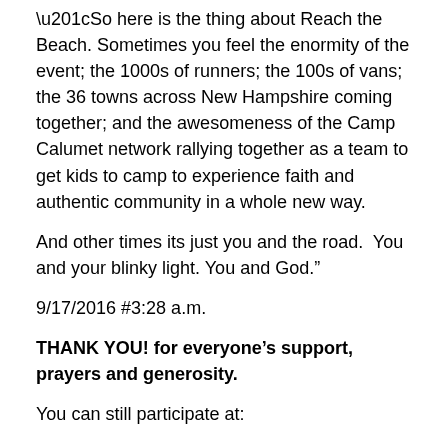“So here is the thing about Reach the Beach. Sometimes you feel the enormity of the event; the 1000s of runners; the 100s of vans; the 36 towns across New Hampshire coming together; and the awesomeness of the Camp Calumet network rallying together as a team to get kids to camp to experience faith and authentic community in a whole new way.
And other times its just you and the road.  You and your blinky light. You and God.”
9/17/2016 #3:28 a.m.
THANK YOU! for everyone’s support, prayers and generosity.
You can still participate at: